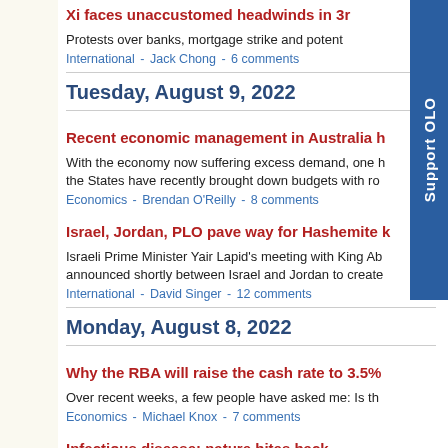Xi faces unaccustomed headwinds in 3r...
Protests over banks, mortgage strike and potent...
International - Jack Chong - 6 comments
Tuesday, August 9, 2022
Recent economic management in Australia h...
With the economy now suffering excess demand, one h... the States have recently brought down budgets with ro...
Economics - Brendan O'Reilly - 8 comments
Israel, Jordan, PLO pave way for Hashemite k...
Israeli Prime Minister Yair Lapid's meeting with King Ab... announced shortly between Israel and Jordan to create...
International - David Singer - 12 comments
Monday, August 8, 2022
Why the RBA will raise the cash rate to 3.5%
Over recent weeks, a few people have asked me: Is th...
Economics - Michael Knox - 7 comments
Infectious disease: nature bites back